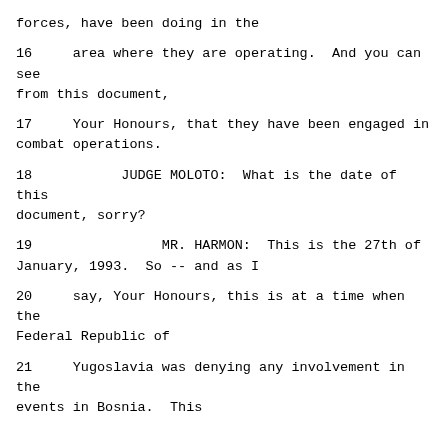forces, have been doing in the
16     area where they are operating.  And you can see from this document,
17     Your Honours, that they have been engaged in combat operations.
18           JUDGE MOLOTO:  What is the date of this document, sorry?
19                MR. HARMON:  This is the 27th of January, 1993.  So -- and as I
20     say, Your Honours, this is at a time when the Federal Republic of
21     Yugoslavia was denying any involvement in the events in Bosnia.  This